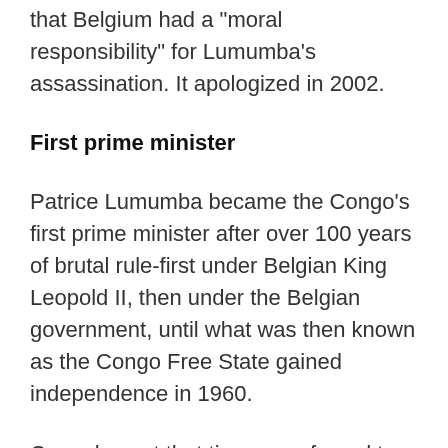that Belgium had a "moral responsibility" for Lumumba's assassination. It apologized in 2002.
First prime minister
Patrice Lumumba became the Congo's first prime minister after over 100 years of brutal rule-first under Belgian King Leopold II, then under the Belgian government, until what was then known as the Congo Free State gained independence in 1960.
Congolese at that time were forced to labour in the numerous rubber plantations. Belgium also plundered the